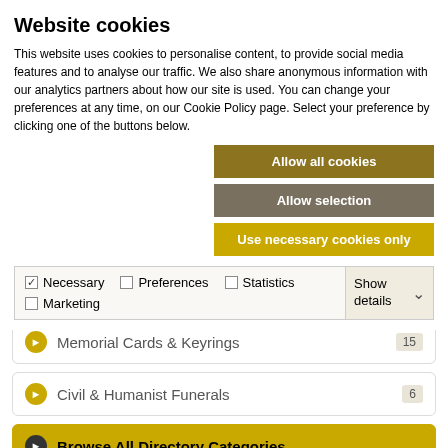Website cookies
This website uses cookies to personalise content, to provide social media features and to analyse our traffic. We also share anonymous information with our analytics partners about how our site is used. You can change your preferences at any time, on our Cookie Policy page. Select your preference by clicking one of the buttons below.
Allow all cookies
Allow selection
Use necessary cookies only
| ✓ Necessary | ☐ Preferences | ☐ Statistics | Show details ∨ |
| ☐ Marketing |  |  |  |
Funeral Directors — 18
Memorial Cards & Keyrings — 15
Civil & Humanist Funerals — 6
Browse All Directory Categories